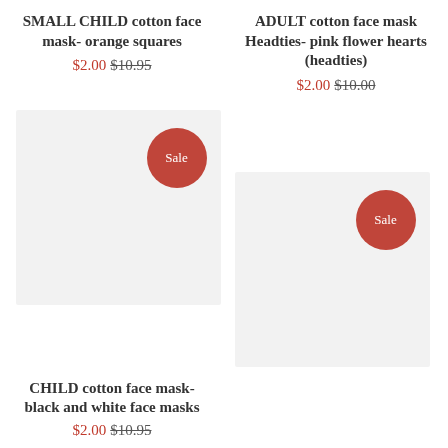SMALL CHILD cotton face mask- orange squares
$2.00 $10.95
ADULT cotton face mask Headties- pink flower hearts (headties)
$2.00 $10.00
[Figure (other): Light gray product image placeholder with Sale badge for child cotton face mask black and white]
[Figure (other): Light gray product image placeholder with Sale badge partially visible on right side]
CHILD cotton face mask- black and white face masks
$2.00 $10.95